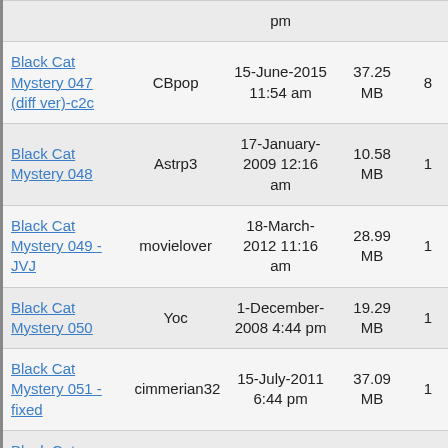| Title | Uploader | Date | Size |  |
| --- | --- | --- | --- | --- |
| [partial top row] |  | pm |  |  |
| Black Cat Mystery 047 (diff ver)-c2c | CBpop | 15-June-2015 11:54 am | 37.25 MB | 8 |
| Black Cat Mystery 048 | Astrp3 | 17-January-2009 12:16 am | 10.58 MB | 1 |
| Black Cat Mystery 049 - JVJ | movielover | 18-March-2012 11:16 am | 28.99 MB | 1 |
| Black Cat Mystery 050 | Yoc | 1-December-2008 4:44 pm | 19.29 MB | 1 |
| Black Cat Mystery 051 - fixed | cimmerian32 | 15-July-2011 6:44 pm | 37.09 MB | 1 |
| Black Cat Mystery 052 (diff ver) | tilliban | 31-October-2015 2:23 pm | 40.38 MB | 6 |
| Black Cat [partial] |  |  |  |  |